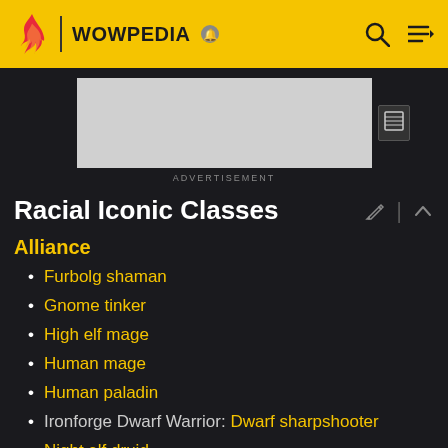WOWPEDIA
[Figure (screenshot): Advertisement placeholder — gray rectangle]
ADVERTISEMENT
Racial Iconic Classes
Alliance
Furbolg shaman
Gnome tinker
High elf mage
Human mage
Human paladin
Ironforge Dwarf Warrior: Dwarf sharpshooter
Night elf druid